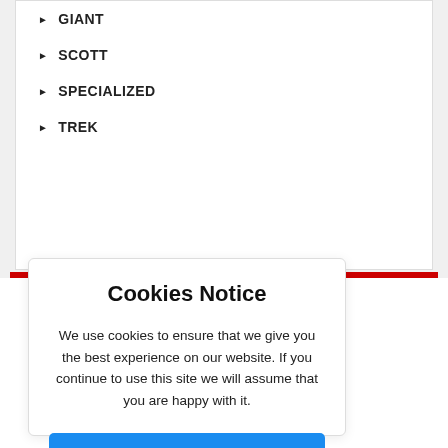GIANT
SCOTT
SPECIALIZED
TREK
Cookies Notice
We use cookies to ensure that we give you the best experience on our website. If you continue to use this site we will assume that you are happy with it.
Yes, I'm Accept